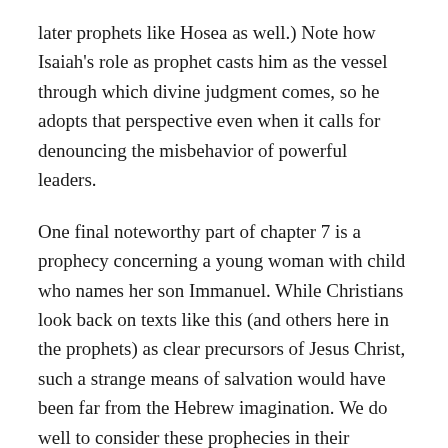later prophets like Hosea as well.) Note how Isaiah's role as prophet casts him as the vessel through which divine judgment comes, so he adopts that perspective even when it calls for denouncing the misbehavior of powerful leaders.
One final noteworthy part of chapter 7 is a prophecy concerning a young woman with child who names her son Immanuel. While Christians look back on texts like this (and others here in the prophets) as clear precursors of Jesus Christ, such a strange means of salvation would have been far from the Hebrew imagination. We do well to consider these prophecies in their original context, and if possible to resist the lens of later Christian interpretations. Happy reading!